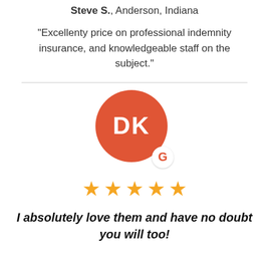indemnity insurance...
Steve S., Anderson, Indiana
“Excellenty price on professional indemnity insurance, and knowledgeable staff on the subject.”
[Figure (illustration): Orange/red circle avatar with white initials DK and a Google G badge on bottom right]
[Figure (other): Five gold star rating]
I absolutely love them and have no doubt you will too!